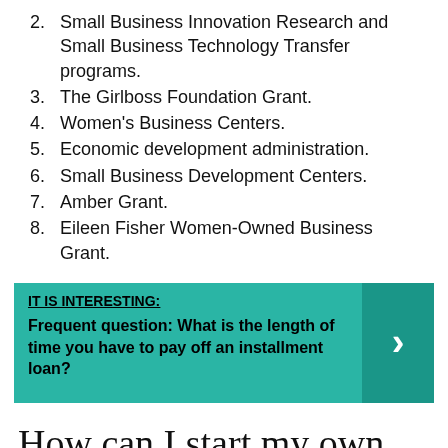2. Small Business Innovation Research and Small Business Technology Transfer programs.
3. The Girlboss Foundation Grant.
4. Women's Business Centers.
5. Economic development administration.
6. Small Business Development Centers.
7. Amber Grant.
8. Eileen Fisher Women-Owned Business Grant.
[Figure (infographic): Teal box with label IT IS INTERESTING: and bold text: Frequent question: What is the length of time you have to pay off an installment loan? with a right-arrow chevron on the right.]
How can I start my own